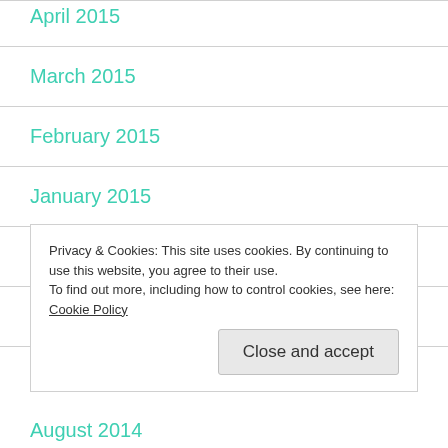April 2015
March 2015
February 2015
January 2015
December 2014
November 2014
Privacy & Cookies: This site uses cookies. By continuing to use this website, you agree to their use. To find out more, including how to control cookies, see here: Cookie Policy
August 2014